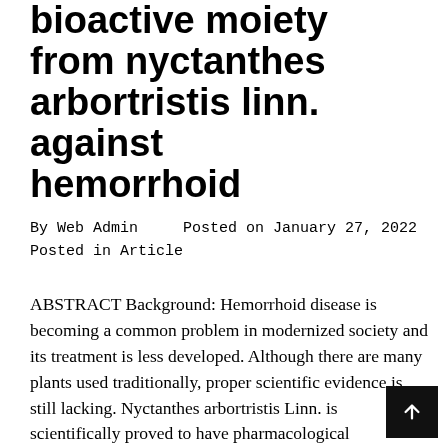bioactive moiety from nyctanthes arbortristis linn. against hemorrhoid
By Web Admin    Posted on January 27, 2022 Posted in Article
ABSTRACT Background: Hemorrhoid disease is becoming a common problem in modernized society and its treatment is less developed. Although there are many plants used traditionally, proper scientific evidence is still lacking. Nyctanthes arbortristis Linn. is scientifically proved to have pharmacological